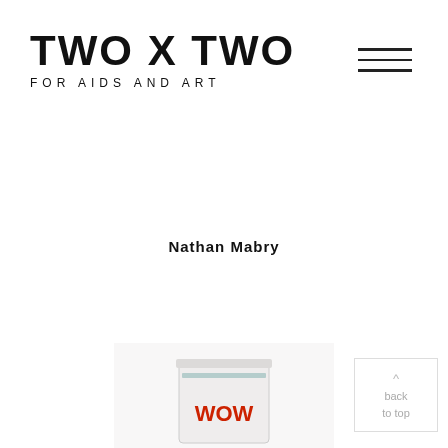TWO x TWO FOR AIDS AND ART
[Figure (logo): Hamburger menu icon with three horizontal lines]
Nathan Mabry
[Figure (photo): Ceramic cup/mug with red text reading WOW or similar, photographed on white background]
^ back to top